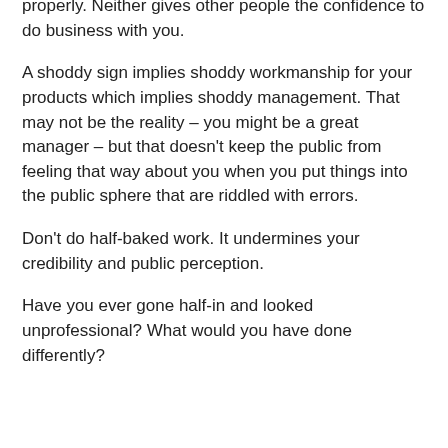properly. Neither gives other people the confidence to do business with you.
A shoddy sign implies shoddy workmanship for your products which implies shoddy management. That may not be the reality – you might be a great manager – but that doesn't keep the public from feeling that way about you when you put things into the public sphere that are riddled with errors.
Don't do half-baked work. It undermines your credibility and public perception.
Have you ever gone half-in and looked unprofessional? What would you have done differently?